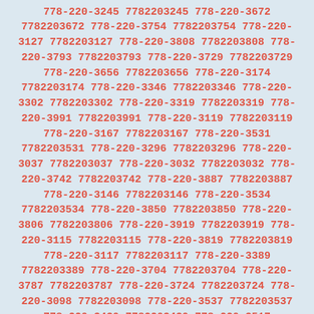7782203018 778-220-3526 7782203526 778-220-3636 7782203636 778-220-3606 7782203606 778-220-3488 7782203488 778-220-3099 7782203099 778-220-3245 7782203245 778-220-3672 7782203672 778-220-3754 7782203754 778-220-3127 7782203127 778-220-3808 7782203808 778-220-3793 7782203793 778-220-3729 7782203729 778-220-3656 7782203656 778-220-3174 7782203174 778-220-3346 7782203346 778-220-3302 7782203302 778-220-3319 7782203319 778-220-3991 7782203991 778-220-3119 7782203119 778-220-3167 7782203167 778-220-3531 7782203531 778-220-3296 7782203296 778-220-3037 7782203037 778-220-3032 7782203032 778-220-3742 7782203742 778-220-3887 7782203887 778-220-3146 7782203146 778-220-3534 7782203534 778-220-3850 7782203850 778-220-3806 7782203806 778-220-3919 7782203919 778-220-3115 7782203115 778-220-3819 7782203819 778-220-3117 7782203117 778-220-3389 7782203389 778-220-3704 7782203704 778-220-3787 7782203787 778-220-3724 7782203724 778-220-3098 7782203098 778-220-3537 7782203537 778-220-3439 7782203439 778-220-3517 7782203517 778-220-3451 7782203451 778-220-3705 7782203705 778-220-3501 7782203501